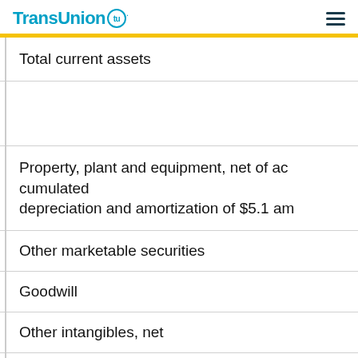TransUnion
| Total current assets |
|  |
| Property, plant and equipment, net of accumulated depreciation and amortization of $5.1 am |
| Other marketable securities |
| Goodwill |
| Other intangibles, net |
| Other assets |
| Total assets |